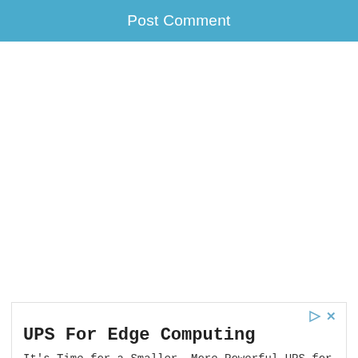Post Comment
[Figure (screenshot): Advertisement box for UPS For Edge Computing by Schneider Electric with an Open button]
UPS For Edge Computing
It's Time for a Smaller, More Powerful UPS for Edge Computing Sites
Schneider Electric
Open